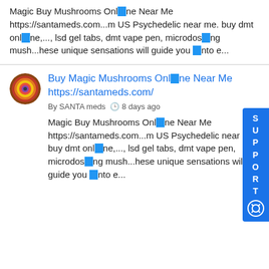Magic Buy Mushrooms Online Near Me https://santameds.com...m US Psychedelic near me. buy dmt online,..., lsd gel tabs, dmt vape pen, microdosing mush...hese unique sensations will guide you into e...
Buy Magic Mushrooms Online Near Me https://santameds.com/
By SANTA meds  8 days ago
Magic Buy Mushrooms Online Near Me https://santameds.com...m US Psychedelic near me. buy dmt online,..., lsd gel tabs, dmt vape pen, microdosing mush...hese unique sensations will guide you into e...